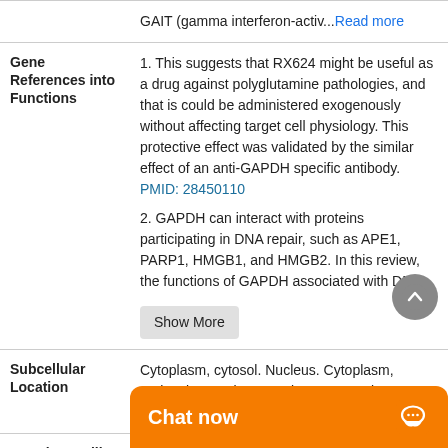GAIT (gamma interferon-activ... Read more
Gene References into Functions
1. This suggests that RX624 might be useful as a drug against polyglutamine pathologies, and that is could be administered exogenously without affecting target cell physiology. This protective effect was validated by the similar effect of an anti-GAPDH specific antibody. PMID: 28450110
2. GAPDH can interact with proteins participating in DNA repair, such as APE1, PARP1, HMGB1, and HMGB2. In this review, the functions of GAPDH associated with DNA
Show More
Subcellular Location
Cytoplasm, cytosol. Nucleus. Cytoplasm, perinuclear region. Membrane. Cytoplasm cytoskeleton.
Protein Families
Glyceral... family